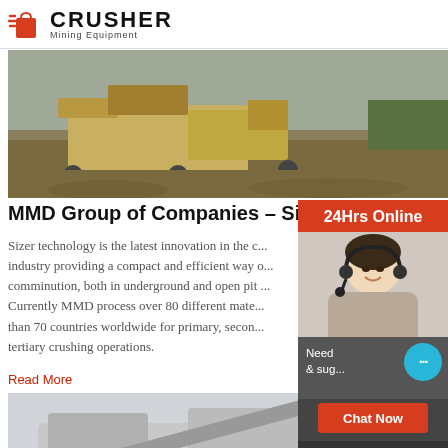[Figure (logo): Crusher Mining Equipment logo with red shopping cart icon and bold CRUSHER text]
[Figure (photo): Aerial photo of large yellow mining crusher/sizer equipment on a dirt site]
MMD Group of Companies - Sizers
Sizer technology is the latest innovation in the c... industry providing a compact and efficient way of comminution, both in underground and open pit... Currently MMD process over 80 different mate... than 70 countries worldwide for primary, second... tertiary crushing operations.
Read More
[Figure (photo): Photo of large mobile crushing plant/screening equipment in a quarry]
[Figure (infographic): Right sidebar: 24Hrs Online customer service panel with Asian female agent with headset, Need & suggestions chat section with chat bubble, Chat Now button, Enquiry section, limingjlmofen@sina.com email]
Ceramics/China Mining...